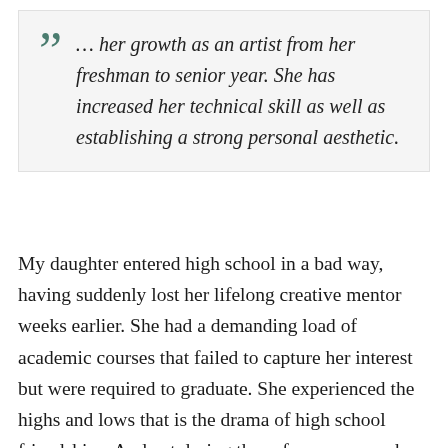… her growth as an artist from her freshman to senior year. She has increased her technical skill as well as establishing a strong personal aesthetic.
My daughter entered high school in a bad way, having suddenly lost her lifelong creative mentor weeks earlier. She had a demanding load of academic courses that failed to capture her interest but were required to graduate. She experienced the highs and lows that is the drama of high school friendships. And yet during those four years, on her own, she: